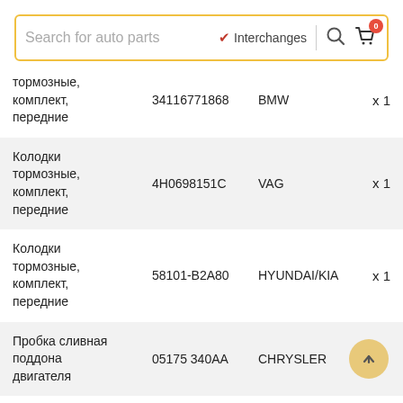[Figure (screenshot): Search bar with placeholder 'Search for auto parts', Interchanges checkbox (checked), magnifier icon, and shopping cart icon with badge showing 0]
| Name | Part Number | Brand | Qty |
| --- | --- | --- | --- |
| тормозные, комплект, передние | 34116771868 | BMW | x 1 |
| Колодки тормозные, комплект, передние | 4H0698151C | VAG | x 1 |
| Колодки тормозные, комплект, передние | 58101-B2A80 | HYUNDAI/KIA | x 1 |
| Пробка сливная поддона двигателя | 05175 340AA | CHRYSLER | ↑ |